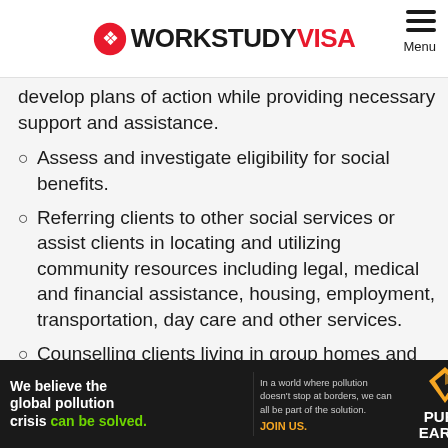WORKSTUDY VISA
develop plans of action while providing necessary support and assistance.
Assess and investigate eligibility for social benefits.
Referring clients to other social services or assist clients in locating and utilizing community resources including legal, medical and financial assistance, housing, employment, transportation, day care and other services.
Counselling clients living in group homes and halfway houses, supervise their activities,